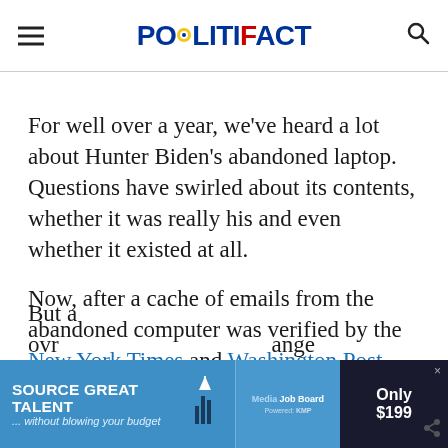POLITIFACT
For well over a year, we’ve heard a lot about Hunter Biden’s abandoned laptop. Questions have swirled about its contents, whether it was really his and even whether it existed at all.
Now, after a cache of emails from the abandoned computer was verified by the New York Times and Washington Post, one claim suggests the FBI has lost the laptop.
But a [partially obscured] ovr[partially obscured] ange
[Figure (screenshot): Advertisement banner: SOURCE GREAT TALENT ...without blowing your budget, Media Job Board, Only $199]